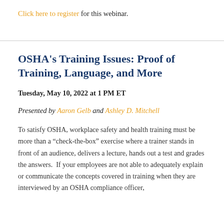Click here to register for this webinar.
OSHA's Training Issues: Proof of Training, Language, and More
Tuesday, May 10, 2022 at 1 PM ET
Presented by Aaron Gelb and Ashley D. Mitchell
To satisfy OSHA, workplace safety and health training must be more than a “check-the-box” exercise where a trainer stands in front of an audience, delivers a lecture, hands out a test and grades the answers.  If your employees are not able to adequately explain or communicate the concepts covered in training when they are interviewed by an OSHA compliance officer,